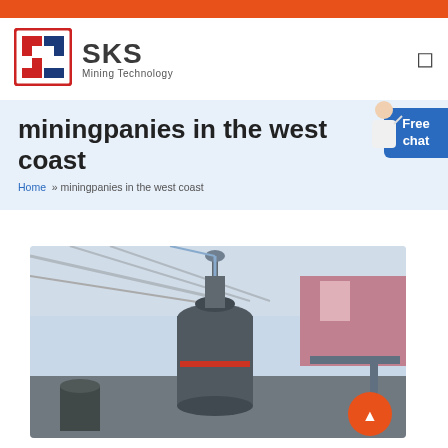[Figure (logo): SKS Mining Technology logo with red and blue geometric icon and company name]
miningpanies in the west coast
Home » miningpanies in the west coast
[Figure (photo): Industrial mining machine (vertical mill/pulverizer) inside a large warehouse facility with steel roof structure]